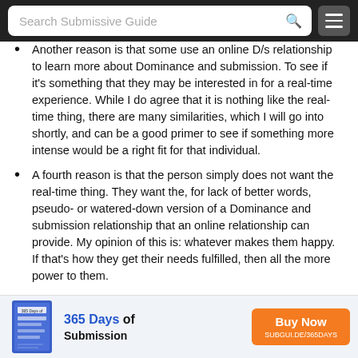Search Submissive Guide
Another reason is that some use an online D/s relationship to learn more about Dominance and submission. To see if it's something that they may be interested in for a real-time experience. While I do agree that it is nothing like the real-time thing, there are many similarities, which I will go into shortly, and can be a good primer to see if something more intense would be a right fit for that individual.
A fourth reason is that the person simply does not want the real-time thing. They want the, for lack of better words, pseudo- or watered-down version of a Dominance and submission relationship that an online relationship can provide. My opinion of this is: whatever makes them happy. If that's how they get their needs fulfilled, then all the more power to them.
How Do You Submit Online?
Now that we have the “why’s” aside I am sure you are wondering
[Figure (infographic): Advertisement banner for '365 Days of Submission' with a book image on the left, text in the center reading '365 Days of Submission', and an orange 'Buy Now' button with URL SUBGUI.DE/365DAYS]